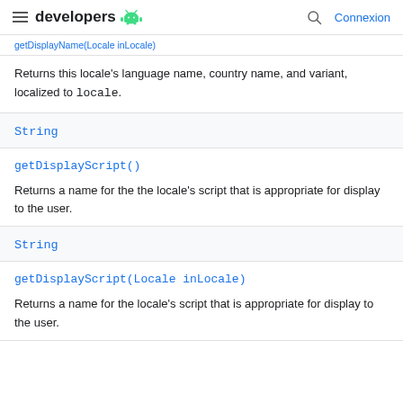developers [android logo] | Connexion
[truncated blue link text]
Returns this locale's language name, country name, and variant, localized to locale.
String
getDisplayScript()
Returns a name for the the locale's script that is appropriate for display to the user.
String
getDisplayScript(Locale inLocale)
Returns a name for the locale's script that is appropriate for display to the user.